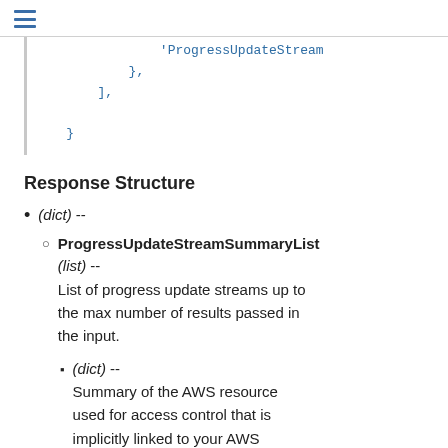☰
'ProgressUpdateStream
            },
        ],

    }
Response Structure
(dict) --
ProgressUpdateStreamSummaryList (list) -- List of progress update streams up to the max number of results passed in the input.
(dict) -- Summary of the AWS resource used for access control that is implicitly linked to your AWS